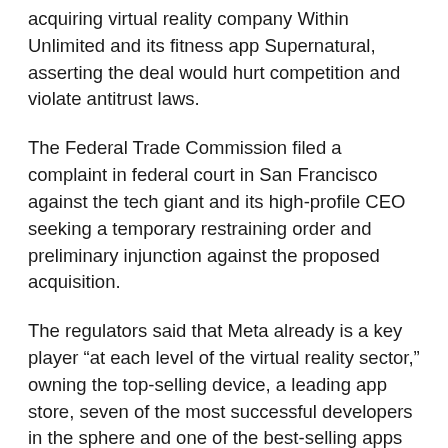acquiring virtual reality company Within Unlimited and its fitness app Supernatural, asserting the deal would hurt competition and violate antitrust laws.
The Federal Trade Commission filed a complaint in federal court in San Francisco against the tech giant and its high-profile CEO seeking a temporary restraining order and preliminary injunction against the proposed acquisition.
The regulators said that Meta already is a key player “at each level of the virtual reality sector,” owning the top-selling device, a leading app store, seven of the most successful developers in the sphere and one of the best-selling apps of all time.
le FTC alleged that Meta and Zuckerberg plan to expand that VR empire by attempting to illegally acquire a dedicated fitness app.